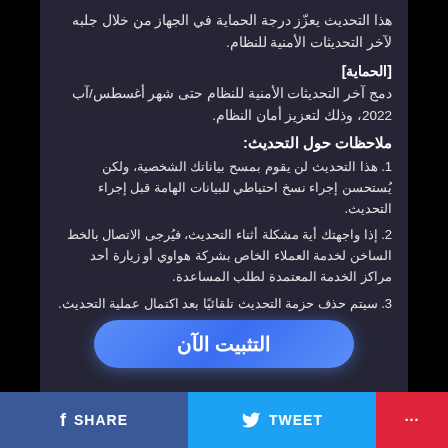هذا التحديث يعزّز درجة الحماية في الجهاز من خلال جلبه لآخر التحديثات الأمنية للنظام.
[الحماية]
دمج آخر التحديثات الأمنية للنظام حتى شهر أغسطس/آب 2022، وذلك لتعزيز أمان النظام.
ملاحظات حول التحديث:
1. هذا التحديث لن يقوم بمسح بياناتك الشخصية، ولكن يُستحسن إجراء نسخ احتياطي للبيانات الهامة قبل إجراء التحديث.
2. إذا واجهتك أية مشكلة أثناء التحديث، فيُرجى الاتصال بالخط الساخن لخدمة العملاء الخاص بشركة هواوي أو زيارة أحد مراكز الخدمة المعتمدة لطلب المساعدة.
3. سيتم حذف حزمة التحديث تلقائيًا بعد اكتمال عملية التحديث.
[Figure (other): Blue rounded button with Arabic text 'التثبيت الآن' (Install Now)]
SHARE   TWEET   ...